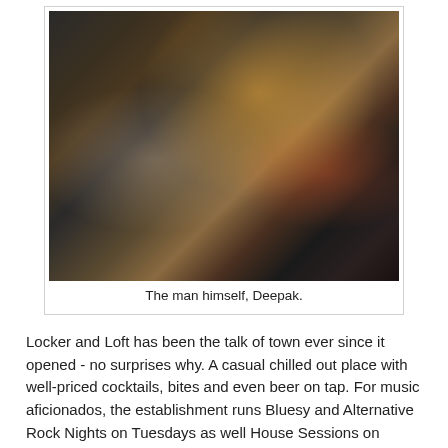[Figure (photo): Indoor bar scene with a woman in a straw hat and a man standing behind a bar counter, warm ambient lighting with candles and decorative lights in the background.]
The man himself, Deepak.
Locker and Loft has been the talk of town ever since it opened - no surprises why. A casual chilled out place with well-priced cocktails, bites and even beer on tap. For music aficionados, the establishment runs Bluesy and Alternative Rock Nights on Tuesdays as well House Sessions on Friday nights, featuring local deejays such as Blastique.
The outlet is dog-friendly every Sunday, where the animals can relax in the terrace. On the first Sunday of the month, a fun BBQ in the Balcony happens. From 1pm to 5pm, a